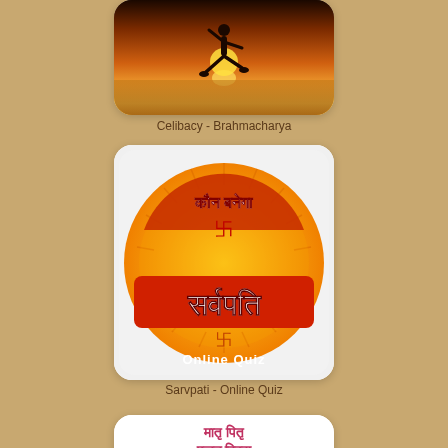[Figure (photo): App icon showing yoga silhouette at sunset by water - Celibacy Brahmacharya app]
Celibacy - Brahmacharya
[Figure (logo): Circular badge with Hindi text 'Kaun Banega Sarvpati' and 'Online Quiz' text at bottom, orange and red color scheme with swastika symbol]
Sarvpati - Online Quiz
[Figure (photo): App icon with Hindi text 'Matru Pitru Pujana Divas' (Parents Worship Day) with children touching parents' feet]